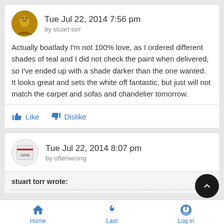Tue Jul 22, 2014 7:56 pm
by stuart torr
Actually boatlady I'm not 100% love, as I ordered different shades of teal and I did not check the paint when delivered, so I've ended up with a shade darker than the one wanted. It looks great and sets the white off fantastic, but just will not match the carpet and sofas and chandelier tomorrow.
Like   Dislike
Tue Jul 22, 2014 8:07 pm
by oftenwrong
stuart torr wrote:
Home   Last   Log in